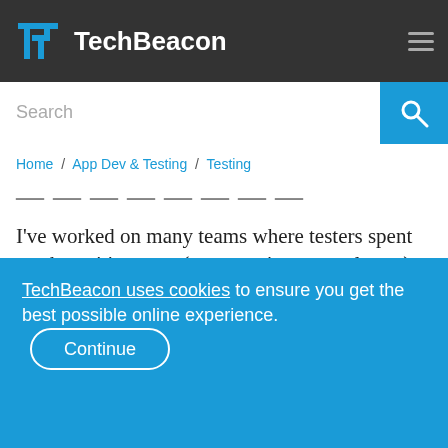TechBeacon
Search
Home / App Dev & Testing / Testing
I've worked on many teams where testers spent weeks writing tests (or executing manual tests) that added no real value. That's not to say that testers inherently waste time, but it's very easy to ignore a bunch of misused time when it's
TechBeacon uses cookies to ensure you get the best possible online experience. Continue